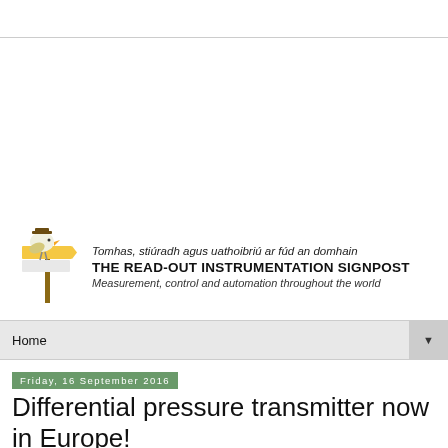[Figure (logo): The Read-Out Instrumentation Signpost logo with signpost bird illustration and text in Irish and English]
Home
Friday, 16 September 2016
Differential pressure transmitter now in Europe!